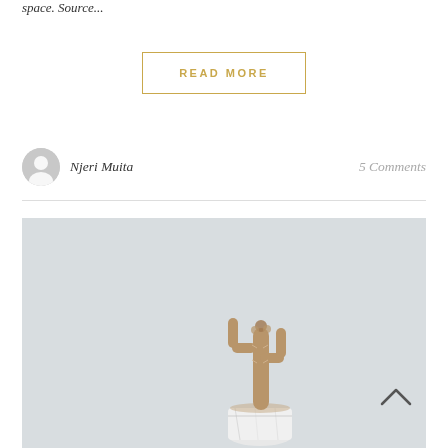space. Source...
READ MORE
Njeri Muita
5 Comments
[Figure (photo): Photo of a cactus in a white marble pot against a light grey background, with a chevron/up arrow icon in the bottom right corner.]